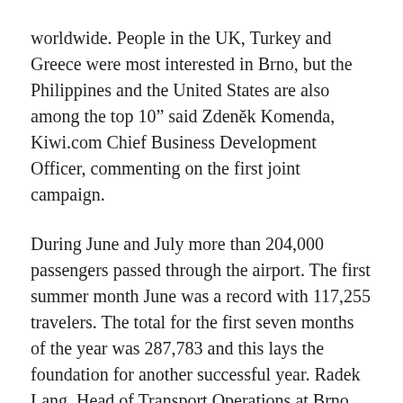worldwide. People in the UK, Turkey and Greece were most interested in Brno, but the Philippines and the United States are also among the top 10” said Zdeněk Komenda, Kiwi.com Chief Business Development Officer, commenting on the first joint campaign.
During June and July more than 204,000 passengers passed through the airport. The first summer month June was a record with 117,255 travelers. The total for the first seven months of the year was 287,783 and this lays the foundation for another successful year. Radek Lang, Head of Transport Operations at Brno Airport, says they are performing 10% ahead of last year, which was itself a record.
Kiwi.com is one of Brno’s business success stories. It was founded in 2012 and by 2017 had become the fastest